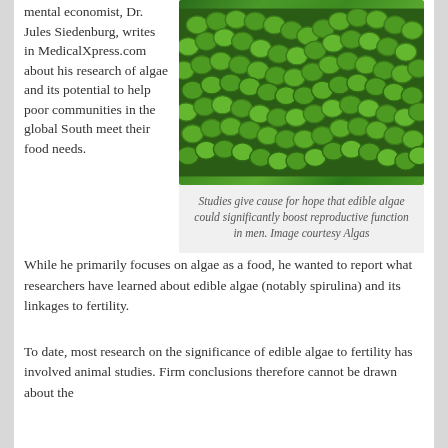mental economist, Dr. Jules Siedenburg, writes in MedicalXpress.com about his research of algae and its potential to help poor communities in the global South meet their food needs. While he primarily focuses on algae as a food, he wanted to report what researchers have learned about edible algae (notably spirulina) and its linkages to fertility.
[Figure (photo): Close-up photograph of green algae (spirulina), showing chain-like spiral filaments of bright green cyanobacteria.]
Studies give cause for hope that edible algae could significantly boost reproductive function in men. Image courtesy Algas
To date, most research on the significance of edible algae to fertility has involved animal studies. Firm conclusions therefore cannot be drawn about the